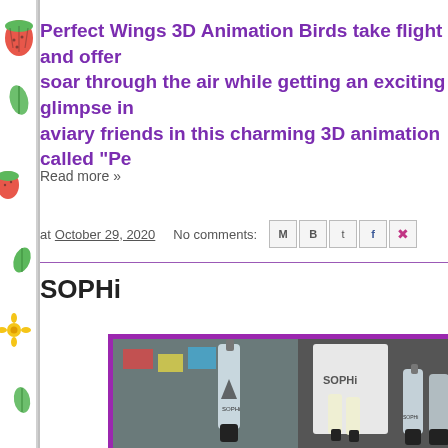Perfect Wings 3D Animation Birds take flight and offer soar through the air while getting an exciting glimpse in aviary friends in this charming 3D animation called "Pe
Read more »
at October 29, 2020   No comments:
SOPHi
[Figure (photo): Product photo of SOPHi nail polish bottles in a purple-bordered frame]